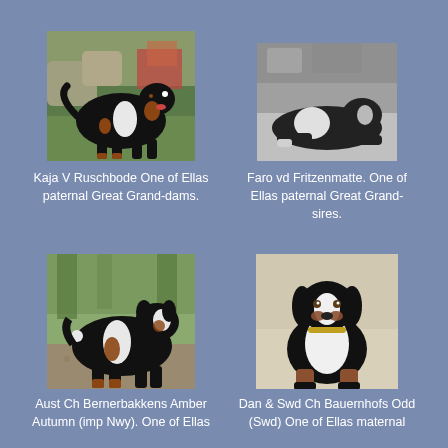[Figure (photo): Color photograph of a Bernese Mountain Dog standing outdoors in a garden setting with rocks and flowers in the background.]
[Figure (photo): Black and white photograph of a Bernese Mountain Dog lying down outdoors.]
Kaja V Ruschbode One of Ellas paternal Great Grand-dams.
Faro vd Fritzenmatte. One of Ellas paternal Great Grand-sires.
[Figure (photo): Color photograph of a Bernese Mountain Dog standing outdoors on gravel ground with trees in the background.]
[Figure (photo): Color photograph of a Bernese Mountain Dog sitting and facing the camera outdoors.]
Aust Ch Bernerbakkens Amber Autumn (imp Nwy). One of Ellas
Dan & Swd Ch Bauernhofs Odd (Swd) One of Ellas maternal